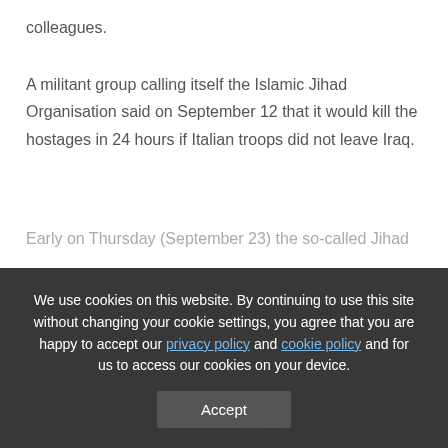colleagues.
A militant group calling itself the Islamic Jihad Organisation said on September 12 that it would kill the hostages in 24 hours if Italian troops did not leave Iraq.
Early on Thursday (September 23) the so-called Jihad
The organisation... the demand... sit... position... the...
We use cookies on this website. By continuing to use this site without changing your cookie settings, you agree that you are happy to accept our privacy policy and cookie policy and for us to access our cookies on your device.